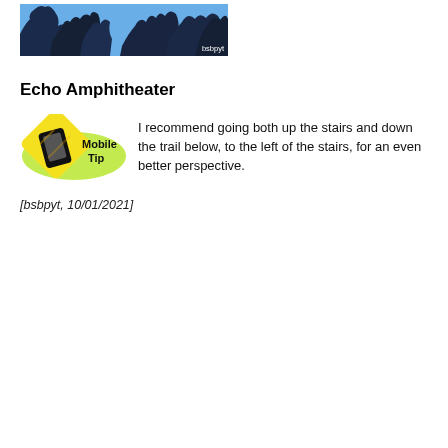[Figure (photo): Outdoor photo showing blue sky and dark silhouetted tree branches. Watermark 'bsbpyt' in lower right corner.]
Echo Amphitheater
[Figure (logo): Mobile Tip badge: yellow diamond caution sign with phone graphic, green ellipse highlight, text 'Mobile Tip']
I recommend going both up the stairs and down the trail below, to the left of the stairs, for an even better perspective.
[bsbpyt, 10/01/2021]